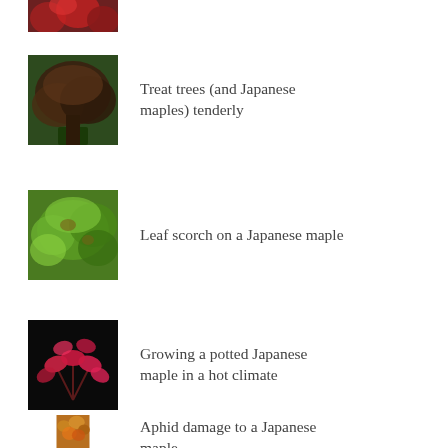[Figure (photo): Partial view of red Japanese maple foliage at top of page]
[Figure (photo): Dark reddish-brown Japanese maple shrub in garden]
Treat trees (and Japanese maples) tenderly
[Figure (photo): Green Japanese maple leaves showing leaf scorch]
Leaf scorch on a Japanese maple
[Figure (photo): Red Japanese maple with vivid pink-red leaves against dark background]
Growing a potted Japanese maple in a hot climate
[Figure (photo): Partial view of autumn-colored Japanese maple with aphid damage]
Aphid damage to a Japanese maple